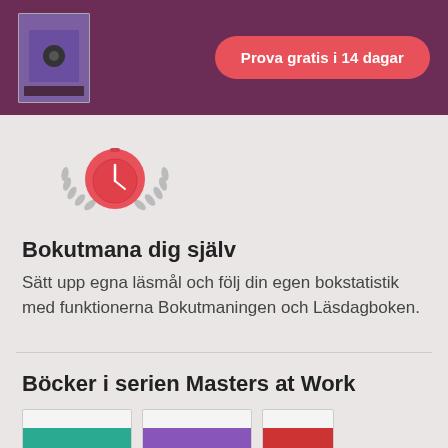[Figure (screenshot): Purple book cover thumbnail in header]
Prova gratis i 14 dagar
[Figure (illustration): Stopwatch icon with laurel wreath badge]
Bokutmana dig själv
Sätt upp egna läsmål och följ din egen bokstatistik med funktionerna Bokutmaningen och Läsdagboken.
Böcker i serien Masters at Work
[Figure (illustration): Three partially visible book cover thumbnails at bottom]